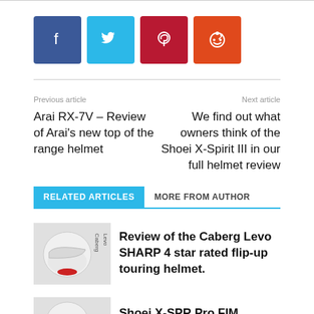[Figure (infographic): Social sharing buttons: Facebook (dark blue), Twitter (light blue), Pinterest (dark red), Reddit (orange)]
Previous article
Arai RX-7V – Review of Arai's new top of the range helmet
Next article
We find out what owners think of the Shoei X-Spirit III in our full helmet review
RELATED ARTICLES
MORE FROM AUTHOR
[Figure (photo): White Caberg Levo flip-up helmet thumbnail with Caberg Levo text]
Review of the Caberg Levo SHARP 4 star rated flip-up touring helmet.
[Figure (photo): Partial helmet thumbnail at bottom of page]
Shoei X-SPR Pro FIM Homologated...